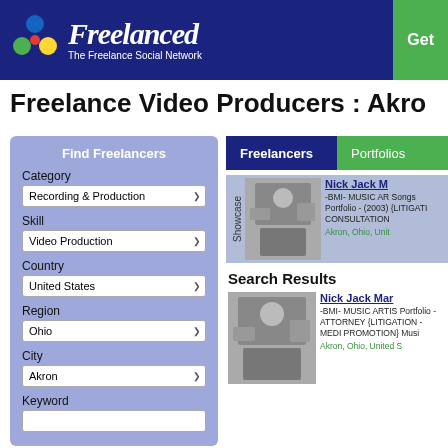[Figure (logo): Freelanced - The Freelance Social Network logo with colorful interlocking circles icon on dark blue header background]
Freelance Video Producers : Akro
Find Freelancers
Category
Recording & Production
Skill
Video Production
Country
United States
Region
Ohio
City
Akron
Keyword
Freelancers
Portfolios
Showcase
Nick Jack M
-BMI- MUSIC AR Songs Portfolio - (2003) {LITIGATI CONSULTATION
Akron, Ohio, Unit
Search Results
Nick Jack Mar
-BMI- MUSIC ARTIS Portfolio -ATTORNEY {LITIGATION - MEDI PROMOTION} Musi
Akron, Ohio, United S